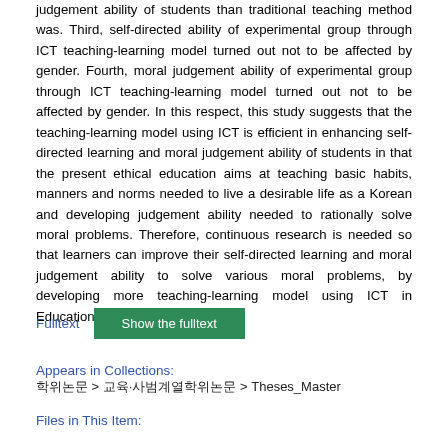judgement ability of students than traditional teaching method was. Third, self-directed ability of experimental group through ICT teaching-learning model turned out not to be affected by gender. Fourth, moral judgement ability of experimental group through ICT teaching-learning model turned out not to be affected by gender. In this respect, this study suggests that the teaching-learning model using ICT is efficient in enhancing self-directed learning and moral judgement ability of students in that the present ethical education aims at teaching basic habits, manners and norms needed to live a desirable life as a Korean and developing judgement ability needed to rationally solve moral problems. Therefore, continuous research is needed so that learners can improve their self-directed learning and moral judgement ability to solve various moral problems, by developing more teaching-learning model using ICT in Education of Ethics.
Fulltext   Show the fulltext
Appears in Collections:   학위논문 > 교육·사범계열학위논문 > Theses_Master
Files in This Item: